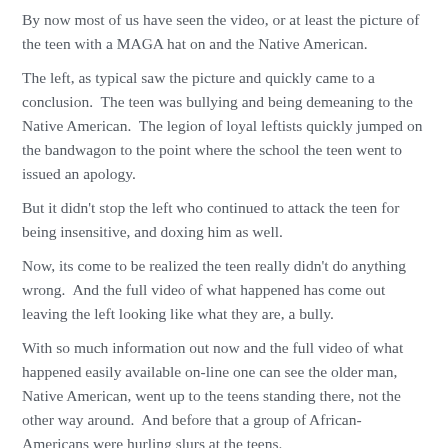By now most of us have seen the video, or at least the picture of the teen with a MAGA hat on and the Native American.
The left, as typical saw the picture and quickly came to a conclusion.  The teen was bullying and being demeaning to the Native American.  The legion of loyal leftists quickly jumped on the bandwagon to the point where the school the teen went to issued an apology.
But it didn't stop the left who continued to attack the teen for being insensitive, and doxing him as well.
Now, its come to be realized the teen really didn't do anything wrong.  And the full video of what happened has come out leaving the left looking like what they are, a bully.
With so much information out now and the full video of what happened easily available on-line one can see the older man, Native American, went up to the teens standing there, not the other way around.  And before that a group of African-Americans were hurling slurs at the teens.